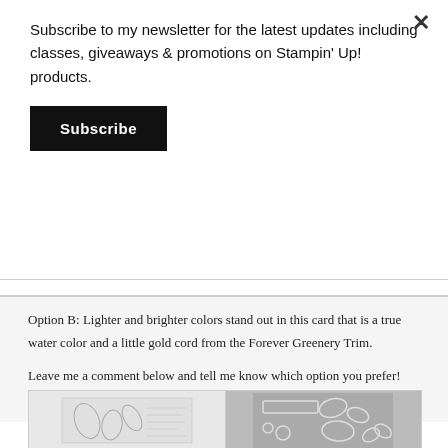Subscribe to my newsletter for the latest updates including classes, giveaways & promotions on Stampin' Up! products.
Subscribe
Option B: Lighter and brighter colors stand out in this card that is a true water color and a little gold cord from the Forever Greenery Trim.
Leave me a comment below and tell me know which option you prefer!
Product List Option A:
[Figure (photo): Product image showing two items: a stamp set with floral/leaf designs on the left, and a dies/cutouts set on a gray background on the right.]